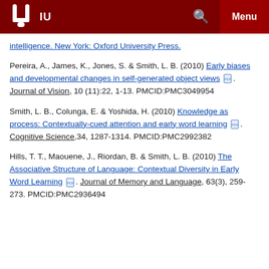IU [Indiana University logo header bar with search and menu]
intelligence. New York: Oxford University Press.
Pereira, A., James, K., Jones, S. & Smith, L. B. (2010) Early biases and developmental changes in self-generated object views [PDF]. Journal of Vision, 10 (11):22, 1-13. PMCID:PMC3049954
Smith, L. B., Colunga, E. & Yoshida, H. (2010) Knowledge as process: Contextually-cued attention and early word learning [PDF]. Cognitive Science,34, 1287-1314. PMCID:PMC2992382
Hills, T. T., Maouene, J., Riordan, B. & Smith, L. B. (2010) The Associative Structure of Language: Contextual Diversity in Early Word Learning [PDF]. Journal of Memory and Language, 63(3), 259-273. PMCID:PMC2936494